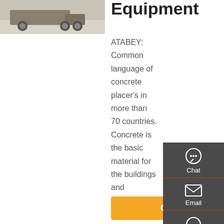[Figure (photo): Photograph of concrete pumping equipment/truck on a light concrete floor]
Equipment
ATABEY: Common language of concrete placer's in more than 70 countries. Concrete is the basic material for the buildings and construction works. Although preparation of readymix concrete has already become a "conventional process", recent developments in pumping and placing technics help to speed up the termination of the whole process.
[Figure (infographic): Sidebar with Chat, Email, Contact, and Top navigation icons on dark grey background]
Get a Quote